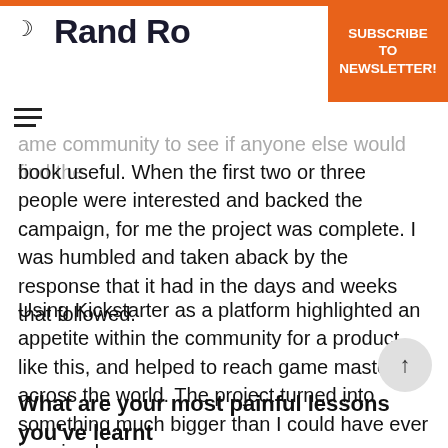Rand Ro…
…ame community to see if anyone else would find the book useful. When the first two or three people were interested and backed the campaign, for me the project was complete. I was humbled and taken aback by the response that it had in the days and weeks that followed.
Using Kickstarter as a platform highlighted an appetite within the community for a product like this, and helped to reach game masters across the world. The project turned into something much bigger than I could have ever imagined.
What are your most painful lessons you've learnt